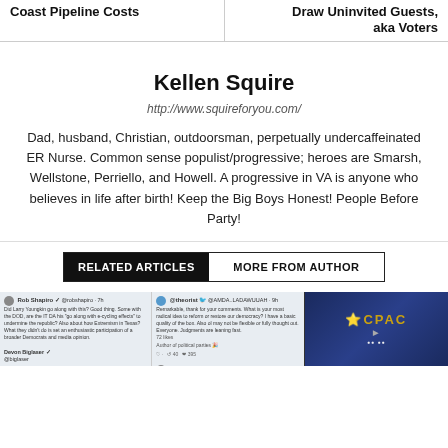Coast Pipeline Costs
Draw Uninvited Guests, aka Voters
Kellen Squire
http://www.squireforyou.com/
Dad, husband, Christian, outdoorsman, perpetually undercaffeinated ER Nurse. Common sense populist/progressive; heroes are Smarsh, Wellstone, Perriello, and Howell. A progressive in VA is anyone who believes in life after birth! Keep the Big Boys Honest! People Before Party!
RELATED ARTICLES   MORE FROM AUTHOR
[Figure (screenshot): Tweet screenshot thumbnail]
[Figure (screenshot): Tweet reply screenshot thumbnail]
[Figure (photo): CPAC event photo thumbnail with dark blue background and CPAC logo]